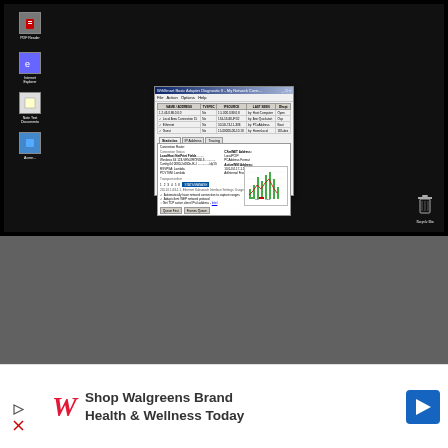[Figure (screenshot): Windows desktop screenshot showing a dark background with desktop icons on the left side (PDF Reader, Internet Explorer-like, Notepad, and another application icon) and a dialog window open in the center showing network connections or adapter properties with tabs, a data table of connections, connection details panel, and a small graph/chart in the lower right of the dialog. A Recycle Bin icon is visible in the bottom right of the desktop.]
[Figure (screenshot): Dark gray area below the desktop screenshot, representing the browser chrome or surrounding application area.]
Shop Walgreens Brand Health & Wellness Today